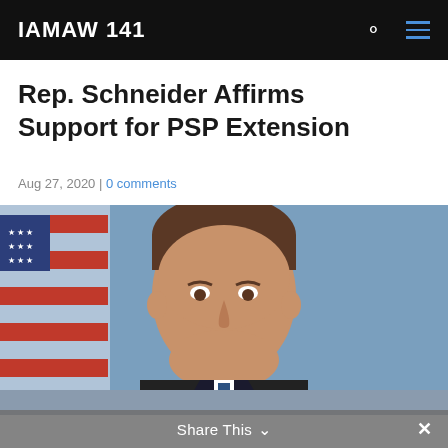IAMAW 141
Rep. Schneider Affirms Support for PSP Extension
Aug 27, 2020 | 0 comments
[Figure (photo): Official portrait of Rep. Schneider in suit and tie, smiling, with American flag in background.]
Share This